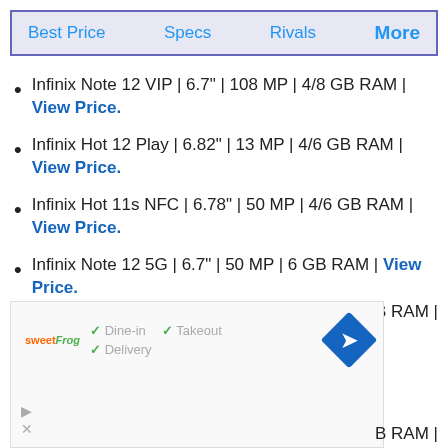Best Price  Specs  Rivals  More
Infinix Note 12 VIP | 6.7" | 108 MP | 4/8 GB RAM | View Price.
Infinix Hot 12 Play | 6.82" | 13 MP | 4/6 GB RAM | View Price.
Infinix Hot 11s NFC | 6.78" | 50 MP | 4/6 GB RAM | View Price.
Infinix Note 12 5G | 6.7" | 50 MP | 6 GB RAM | View Price.
[Figure (screenshot): Advertisement overlay showing Sweet Frog restaurant with Dine-in, Takeout, and Delivery options, with a blue directional arrow/diamond icon]